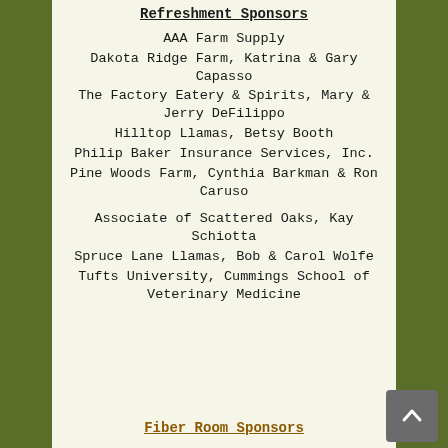Refreshment Sponsors
AAA Farm Supply
Dakota Ridge Farm, Katrina & Gary Capasso
The Factory Eatery & Spirits, Mary & Jerry DeFilippo
Hilltop Llamas, Betsy Booth
Philip Baker Insurance Services, Inc.
Pine Woods Farm, Cynthia Barkman & Ron Caruso
Associate of Scattered Oaks, Kay Schiotta
Spruce Lane Llamas, Bob & Carol Wolfe
Tufts University, Cummings School of Veterinary Medicine
Fiber Room Sponsors